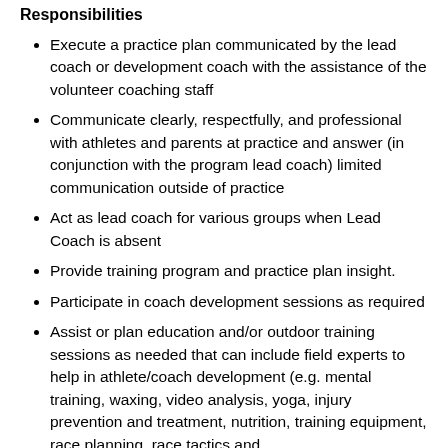Responsibilities
Execute a practice plan communicated by the lead coach or development coach with the assistance of the volunteer coaching staff
Communicate clearly, respectfully, and professional with athletes and parents at practice and answer (in conjunction with the program lead coach) limited communication outside of practice
Act as lead coach for various groups when Lead Coach is absent
Provide training program and practice plan insight.
Participate in coach development sessions as required
Assist or plan education and/or outdoor training sessions as needed that can include field experts to help in athlete/coach development (e.g. mental training, waxing, video analysis, yoga, injury prevention and treatment, nutrition, training equipment, race planning, race tactics and